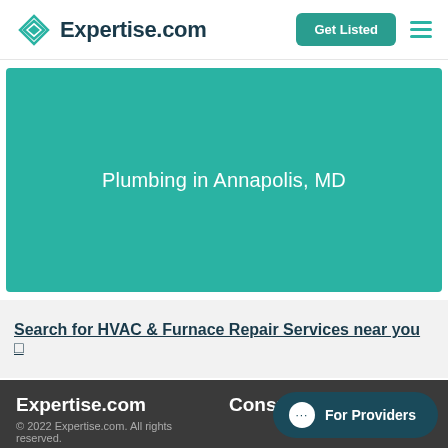Expertise.com | Get Listed
[Figure (screenshot): Teal banner with text 'Plumbing in Annapolis, MD']
Plumbing in Annapolis, MD
Search for HVAC & Furnace Repair Services near you
Expertise.com
© 2022 Expertise.com. All rights reserved.
About
Careers
Consumers
For Providers